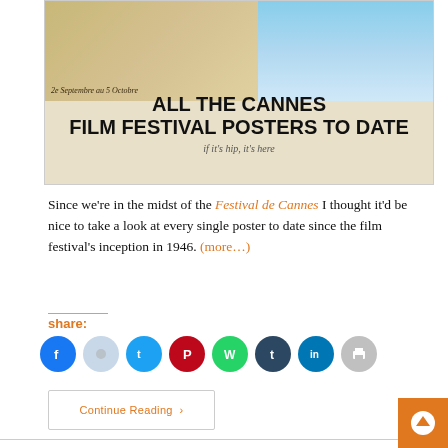[Figure (illustration): Banner image for 'All The Cannes Film Festival Posters To Date' blog post. Top half shows vintage Cannes 1946 poster artwork on left and a modern blue-sky staircase image on right. Below in large bold text: ALL THE CANNES FILM FESTIVAL POSTERS TO DATE. Subtitle: if it's hip, it's here]
Since we're in the midst of the Festival de Cannes I thought it'd be nice to take a look at every single poster to date since the film festival's inception in 1946. (more…)
share:
[Figure (infographic): Row of social share icon circles: Facebook (blue), Reddit (light grey/blue), Twitter (blue), Pinterest (dark red), WhatsApp (green), Tumblr (dark navy), LinkedIn (teal/blue), Print (light grey)]
Continue Reading ›